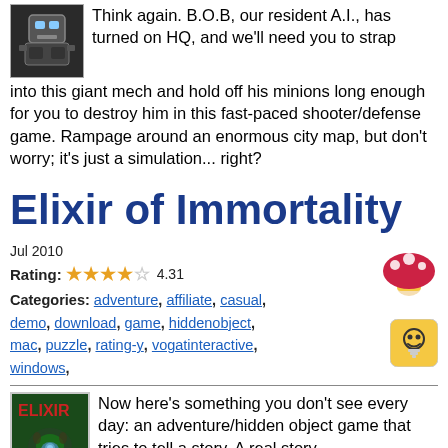Think again. B.O.B, our resident A.I., has turned on HQ, and we'll need you to strap into this giant mech and hold off his minions long enough for you to destroy him in this fast-paced shooter/defense game. Rampage around an enormous city map, but don't worry; it's just a simulation... right?
Elixir of Immortality
Jul 2010
Rating: 4.31
Categories: adventure, affiliate, casual, demo, download, game, hiddenobject, mac, puzzle, rating-y, vogatinteractive, windows
Now here's something you don't see every day: an adventure/hidden object game that tries to tell a story. A real story. And succeeds. Not only does Elixir of Immortality know how to weave an intriguing plot, it knows how to do it with pictures, setting, and presentation instead of loads of words. You won't find blocks of text or terrible voice acting in this game. All that the absolute minimum, delicious story of a